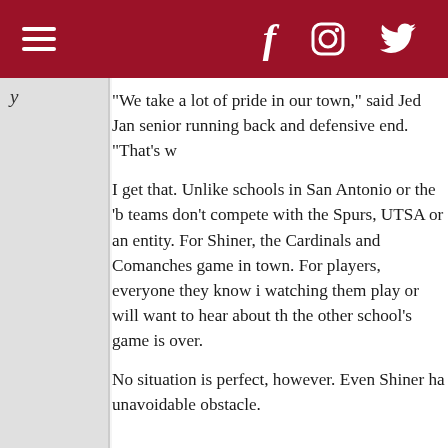≡  f  [instagram]  [twitter]
y
“We take a lot of pride in our town,” said Jed Jan senior running back and defensive end. “That’s v
I get that. Unlike schools in San Antonio or the ‘b teams don’t compete with the Spurs, UTSA or an entity. For Shiner, the Cardinals and Comanches game in town. For players, everyone they know i watching them play or will want to hear about th the other school’s game is over.
No situation is perfect, however. Even Shiner ha unavoidable obstacle.